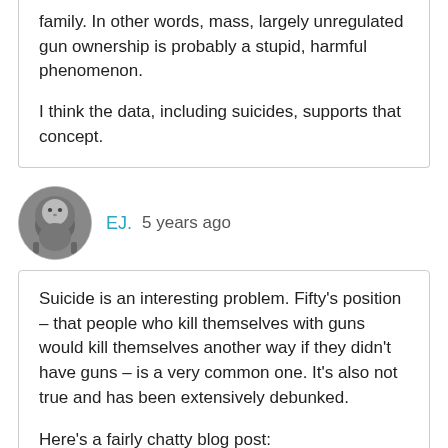family. In other words, mass, largely unregulated gun ownership is probably a stupid, harmful phenomenon.

I think the data, including suicides, supports that concept.
[Figure (photo): Circular avatar image of a lion in black and white]
EJ.  5 years ago
Suicide is an interesting problem. Fifty's position – that people who kill themselves with guns would kill themselves another way if they didn't have guns – is a very common one. It's also not true and has been extensively debunked.

Here's a fairly chatty blog post:
http://www.psychologytoday.com/blog/p/entr...